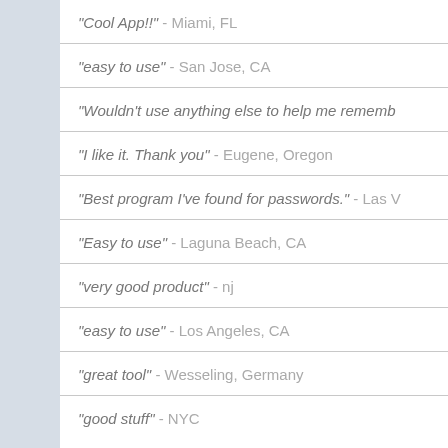"Cool App!!" - Miami, FL
"easy to use" - San Jose, CA
"Wouldn't use anything else to help me rememb...
"I like it. Thank you" - Eugene, Oregon
"Best program I've found for passwords." - Las V...
"Easy to use" - Laguna Beach, CA
"very good product" - nj
"easy to use" - Los Angeles, CA
"great tool" - Wesseling, Germany
"good stuff" - NYC